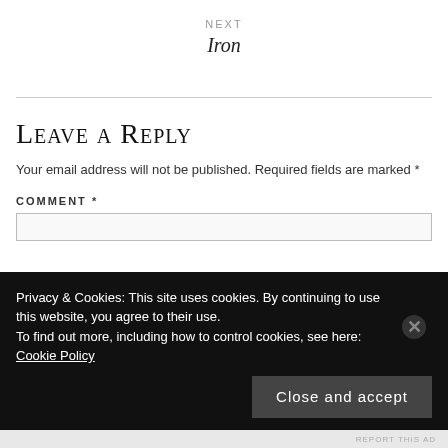NEXT
Iron
Leave a Reply
Your email address will not be published. Required fields are marked *
COMMENT *
Privacy & Cookies: This site uses cookies. By continuing to use this website, you agree to their use.
To find out more, including how to control cookies, see here: Cookie Policy
REPORT THIS AD